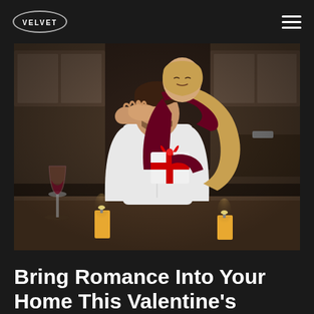VELVET
[Figure (photo): A romantic scene: a woman with long blonde hair covering a seated man's eyes from behind, presenting a red-ribboned gift box. A wine glass and two yellow candles are on a table in the foreground. Kitchen setting in background.]
Bring Romance Into Your Home This Valentine's